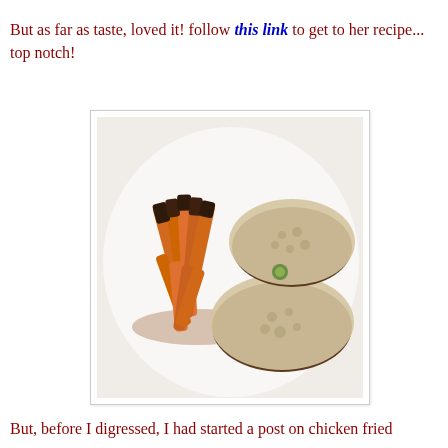But as far as taste, loved it!  follow this link to get to her recipe... top notch!
[Figure (photo): A white plate with roasted sweet potato fries on the left side and two pieces of chicken fried steak covered in creamy gravy with visible chunks on the right side.]
But, before I digressed, I had started a post on chicken fried